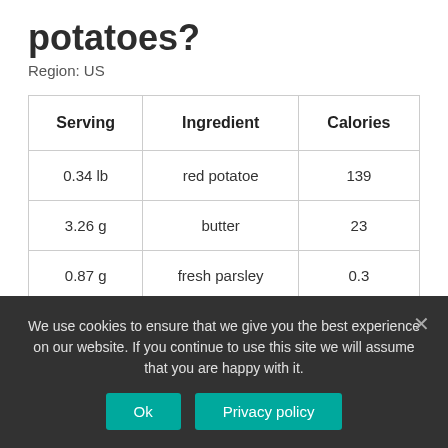potatoes?
Region: US
| Serving | Ingredient | Calories |
| --- | --- | --- |
| 0.34 lb | red potatoe | 139 |
| 3.26 g | butter | 23 |
| 0.87 g | fresh parsley | 0.3 |
| 0.7 g | salt | 0.0 |
We use cookies to ensure that we give you the best experience on our website. If you continue to use this site we will assume that you are happy with it.
Ok  Privacy policy